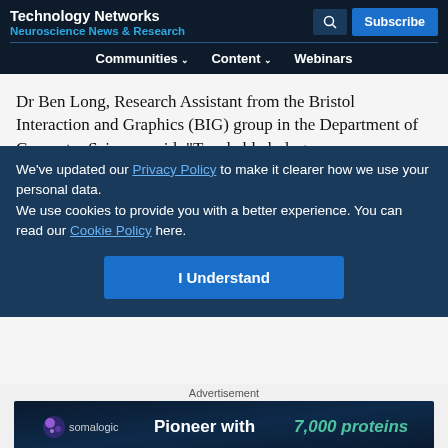Technology Networks
Neuroscience News & Research
Communities   Content   Webinars
Dr Ben Long, Research Assistant from the Bristol Interaction and Graphics (BIG) group in the Department of Computer Science, said: "Touchable holograms,
immersive virtual reality that you can feel and complex...
We've updated our Privacy Policy to make it clearer how we use your personal data.
We use cookies to provide you with a better experience. You can read our Cookie Policy here.
I Understand
Advertisement
[Figure (other): Somalogic advertisement banner: 'Pioneer with 7,000 proteins']